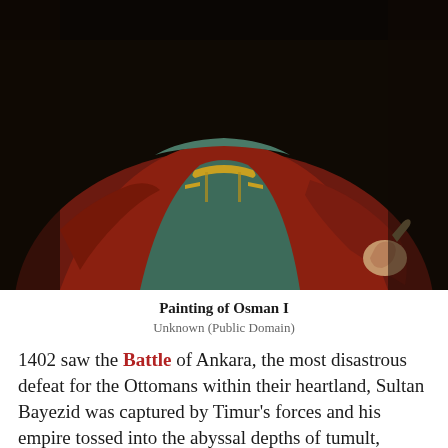[Figure (photo): A painting of Osman I, showing a figure in red and teal robes with ornate gold trim, holding an object, set against a dark background. Only the torso and hands are visible.]
Painting of Osman I
Unknown (Public Domain)
1402 saw the Battle of Ankara, the most disastrous defeat for the Ottomans within their heartland, Sultan Bayezid was captured by Timur's forces and his empire tossed into the abyssal depths of tumult, chaos, and division. The Ottoman Interregnum (1402-1413) that followed was a decade-long civil war that wasted precious resources for infighting, but when Mehmed I (r. 1413-1421) emerged as the victor of the conflict, the